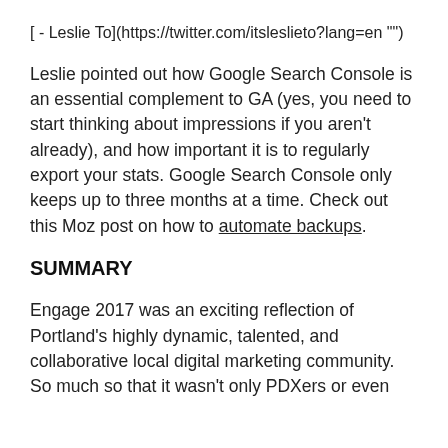[ - Leslie To](https://twitter.com/itsleslieto?lang=en "")
Leslie pointed out how Google Search Console is an essential complement to GA (yes, you need to start thinking about impressions if you aren't already), and how important it is to regularly export your stats. Google Search Console only keeps up to three months at a time. Check out this Moz post on how to automate backups.
SUMMARY
Engage 2017 was an exciting reflection of Portland's highly dynamic, talented, and collaborative local digital marketing community. So much so that it wasn't only PDXers or even Oregonians that attended, but even a couple...